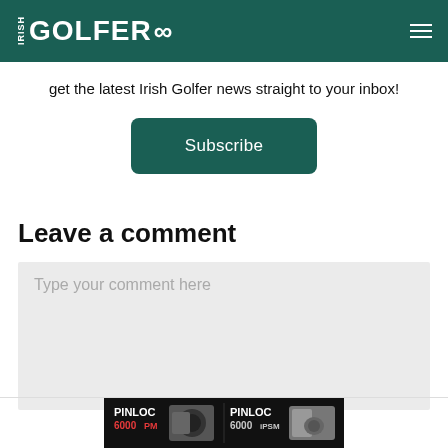IRISH GOLFER
get the latest Irish Golfer news straight to your inbox!
Subscribe
Leave a comment
Type your comment here
[Figure (other): PINLOC 6000PM and PINLOC 6000iPSM advertisement banner with product images]